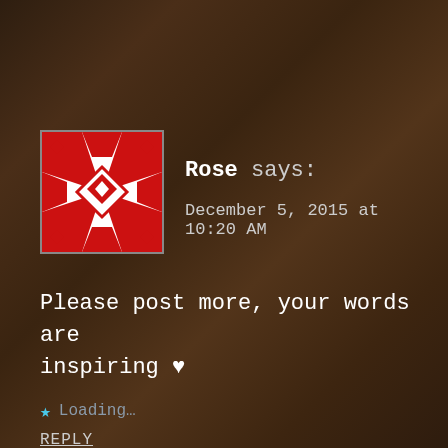[Figure (illustration): Red and white geometric quilt pattern avatar for user Rose]
Rose says:
December 5, 2015 at 10:20 AM
Please post more, your words are inspiring ♥
★ Loading...
REPLY
[Figure (photo): Small circular profile photo for next commenter]
Mlliom419 says: